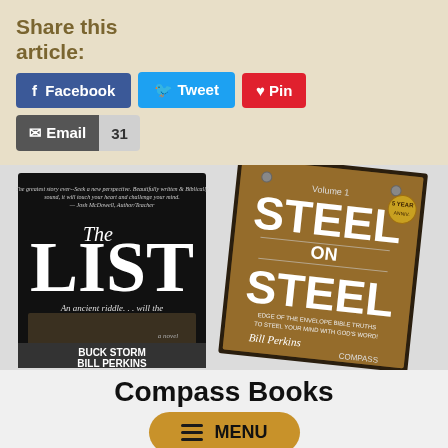Share this article:
[Figure (screenshot): Social share buttons: Facebook, Tweet, Pin, Email with count 31]
[Figure (photo): Two book covers: 'The List' by Buck Storm and Bill Perkins, and 'Steel on Steel Volume 1' by Bill Perkins (Compass Books)]
Compass Books
[Figure (other): Hamburger menu button labeled MENU in golden/amber color]
Check out Compass Books' full line of paperback, digital and audio books – from Biblically sound inspiration for investors and their...